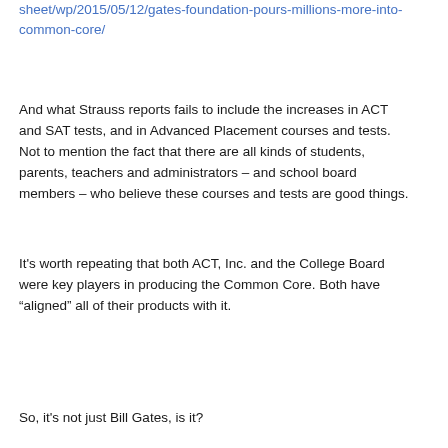sheet/wp/2015/05/12/gates-foundation-pours-millions-more-into-common-core/
And what Strauss reports fails to include the increases in ACT and SAT tests, and in Advanced Placement courses and tests. Not to mention the fact that there are all kinds of students, parents, teachers and administrators – and school board members – who believe these courses and tests are good things.
It's worth repeating that both ACT, Inc. and the College Board were key players in producing the Common Core. Both have “aligned” all of their products with it.
So, it's not just Bill Gates, is it?